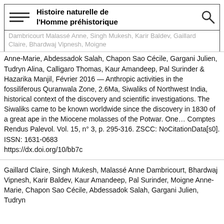Histoire naturelle de l'Homme préhistorique
Dambricourt Malassé Anne, Singh Mukesh, Karir Baldev, Gaillard Claire, Bhardwaj Vipnesh, Moigne Anne-Marie, Abdessadok Salah, Chapon Sao Cécile, Gargani Julien, Tudryn Alina, Calligaro Thomas, Kaur Amandeep, Pal Surinder & Hazarika Manjil, Février 2016 — Anthropic activities in the fossiliferous Quranwala Zone, 2.6Ma, Siwaliks of Northwest India, historical context of the discovery and scientific investigations. The Siwaliks came to be known worldwide since the discovery in 1830 of a great ape in the Miocene molasses of the Potwar. One... Comptes Rendus Palevol. Vol. 15, n° 3, p. 295-316. ZSCC: NoCitationData[s0].
ISSN: 1631-0683
https://dx.doi.org/10/bb7c
Gaillard Claire, Singh Mukesh, Malassé Anne Dambricourt, Bhardwaj Vipnesh, Karir Baldev, Kaur Amandeep, Pal Surinder, Moigne Anne-Marie, Chapon Sao Cécile, Abdessadok Salah, Gargani Julien, Tudryn Alina, Calligaro Thomas, Kaur Amandeep, Pal Surinder, Moigne Anne-Marie, Chapon Sao Cécile, Abdessadok Salah, Gargani Julien, Tudryn